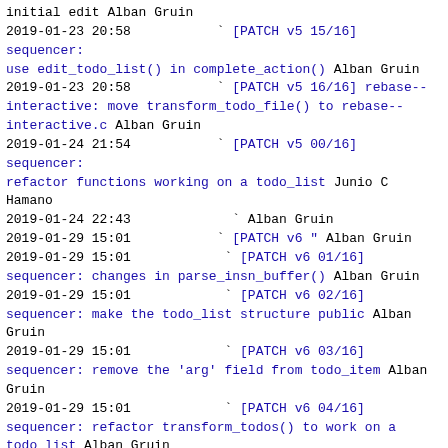initial edit Alban Gruin
2019-01-23 20:58  [PATCH v5 15/16] sequencer: use edit_todo_list() in complete_action() Alban Gruin
2019-01-23 20:58  [PATCH v5 16/16] rebase--interactive: move transform_todo_file() to rebase--interactive.c Alban Gruin
2019-01-24 21:54  [PATCH v5 00/16] sequencer: refactor functions working on a todo_list Junio C Hamano
2019-01-24 22:43   Alban Gruin
2019-01-29 15:01  [PATCH v6 " Alban Gruin
2019-01-29 15:01  [PATCH v6 01/16] sequencer: changes in parse_insn_buffer() Alban Gruin
2019-01-29 15:01  [PATCH v6 02/16] sequencer: make the todo_list structure public Alban Gruin
2019-01-29 15:01  [PATCH v6 03/16] sequencer: remove the 'arg' field from todo_item Alban Gruin
2019-01-29 15:01  [PATCH v6 04/16] sequencer: refactor transform_todos() to work on a todo_list Alban Gruin
2019-01-29 15:01  [PATCH v6 05/16] sequencer: introduce todo_list_write_to_file() Alban Gruin
2019-01-29 15:01  [PATCH v6 06/16] sequencer: refactor check_todo_list() to work on a todo_list Alban Gruin
2019-01-29 15:01  [PATCH v6 07/16] sequencer: refactor sequencer_add_exec_commands() " Alban Gruin